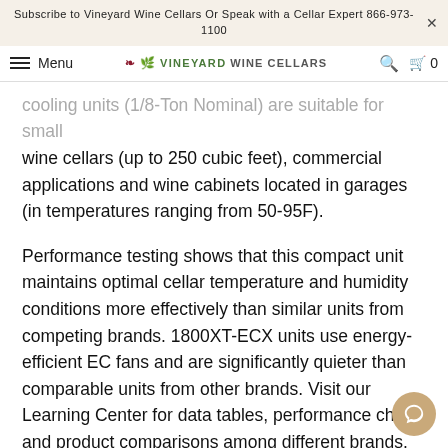Subscribe to Vineyard Wine Cellars Or Speak with a Cellar Expert 866-973-1100
Menu | VINEYARD WINE CELLARS | Search | Cart 0
cooling units (1/8-Ton Nominal) are suitable for small wine cellars (up to 250 cubic feet), commercial applications and wine cabinets located in garages (in temperatures ranging from 50-95F).
Performance testing shows that this compact unit maintains optimal cellar temperature and humidity conditions more effectively than similar units from competing brands. 1800XT-ECX units use energy-efficient EC fans and are significantly quieter than comparable units from other brands. Visit our Learning Center for data tables, performance charts and product comparisons among different brands.
CellarPro 1800XT-ECX units are sized to replace Breezaire 2000 and Wine-Mate 2500 cooling units...